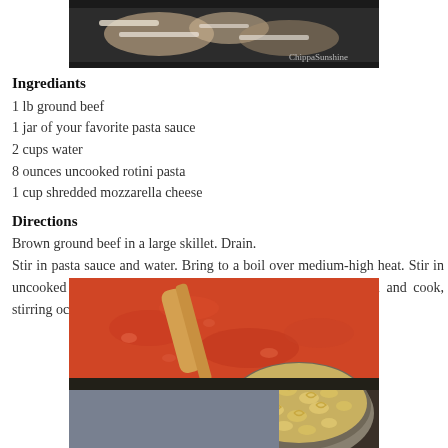[Figure (photo): Photo of food cooking in a skillet with cheese and noodles, watermark 'ChippaSunshine' in bottom right]
Ingrediants
1 lb ground beef
1 jar of your favorite pasta sauce
2 cups water
8 ounces uncooked rotini pasta
1 cup shredded mozzarella cheese
Directions
Brown ground beef in a large skillet. Drain. Stir in pasta sauce and water. Bring to a boil over medium-high heat. Stir in uncooked pasta and return to a boil. Reduce heat to medium and cook, stirring occasionally, 14 minutes or until pasta is tender.
[Figure (photo): Photo showing tomato pasta sauce in a skillet with a wooden spoon and a bowl of uncooked rotini pasta in the foreground]